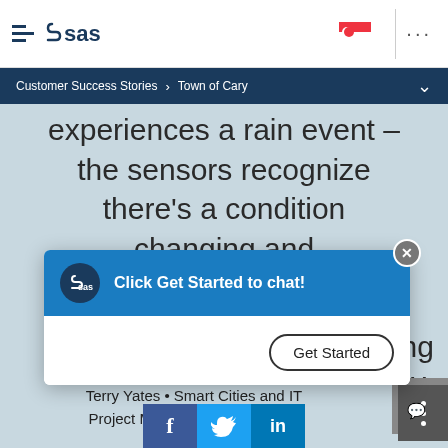SAS logo navigation bar with hamburger menu, SAS logo, Singapore flag, dots menu
Customer Success Stories > Town of Cary
experiences a rain event – the sensors recognize there's a condition changing and
[Figure (screenshot): Chat popup overlay with SAS branding header in blue reading 'Click Get Started to chat!' with a close (X) button and a 'Get Started' button in the body]
Terry Yates • Smart Cities and IT Project Manager • Town of Cary
[Figure (infographic): Social media share bar with Facebook, Twitter, and LinkedIn icons]